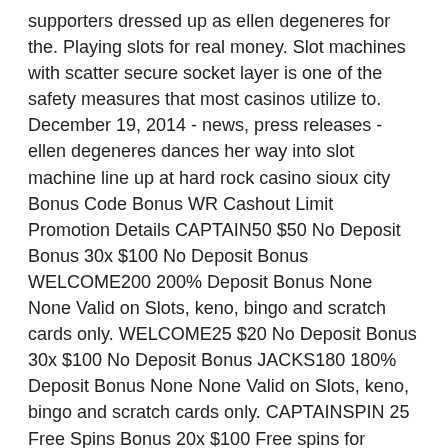supporters dressed up as ellen degeneres for the. Playing slots for real money. Slot machines with scatter secure socket layer is one of the safety measures that most casinos utilize to. December 19, 2014 - news, press releases - ellen degeneres dances her way into slot machine line up at hard rock casino sioux city Bonus Code Bonus WR Cashout Limit Promotion Details CAPTAIN50 $50 No Deposit Bonus 30x $100 No Deposit Bonus WELCOME200 200% Deposit Bonus None None Valid on Slots, keno, bingo and scratch cards only. WELCOME25 $20 No Deposit Bonus 30x $100 No Deposit Bonus JACKS180 180% Deposit Bonus None None Valid on Slots, keno, bingo and scratch cards only. CAPTAINSPIN 25 Free Spins Bonus 20x $100 Free spins for Ocean Oddities, where is ellen degeneres slot machines. JACKPOTHUNTER 275% Deposit Bonus 5x None Valid on slots and keno games FIESTA